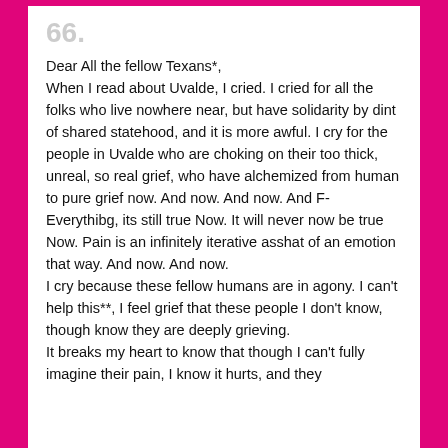66.
Dear All the fellow Texans*,
When I read about Uvalde, I cried. I cried for all the folks who live nowhere near, but have solidarity by dint of shared statehood, and it is more awful. I cry for the people in Uvalde who are choking on their too thick, unreal, so real grief, who have alchemized from human to pure grief now. And now. And now. And F-Everythibg, its still true Now. It will never now be true Now. Pain is an infinitely iterative asshat of an emotion that way. And now. And now.
I cry because these fellow humans are in agony. I can't help this**, I feel grief that these people I don't know, though know they are deeply grieving.
It breaks my heart to know that though I can't fully imagine their pain, I know it hurts, and they